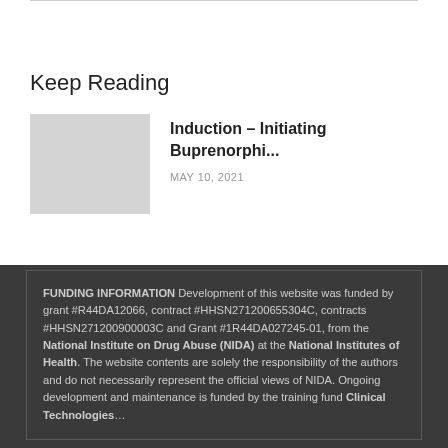Keep Reading
Induction – Initiating Buprenorphi...
MAY 10, 2021
FUNDING INFORMATION Development of this website was funded by grant #R44DA12066, contract #HHSN271200655304C, contracts #HHSN271200900003C and Grant #1R44DA027245-01, from the National Institute on Drug Abuse (NIDA) at the National Institutes of Health. The website contents are solely the responsibility of the authors and do not necessarily represent the official views of NIDA. Ongoing development and maintenance is funded by the training fund Clinical Technologies.